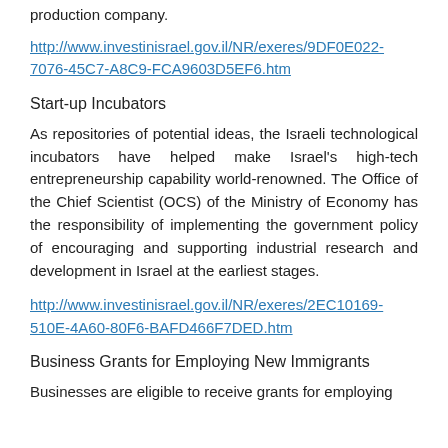production company.
http://www.investinisrael.gov.il/NR/exeres/9DF0E022-7076-45C7-A8C9-FCA9603D5EF6.htm
Start-up Incubators
As repositories of potential ideas, the Israeli technological incubators have helped make Israel's high-tech entrepreneurship capability world-renowned. The Office of the Chief Scientist (OCS) of the Ministry of Economy has the responsibility of implementing the government policy of encouraging and supporting industrial research and development in Israel at the earliest stages.
http://www.investinisrael.gov.il/NR/exeres/2EC10169-510E-4A60-80F6-BAFD466F7DED.htm
Business Grants for Employing New Immigrants
Businesses are eligible to receive grants for employing